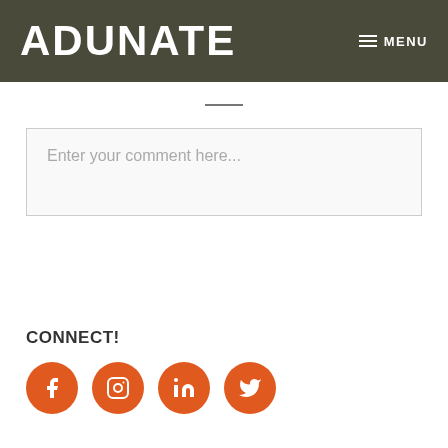ADUNATE  MENU
Enter your comment here...
CONNECT!
[Figure (infographic): Four orange circular social media icons: Facebook (f), Instagram (camera/square), LinkedIn (in), Twitter (bird)]